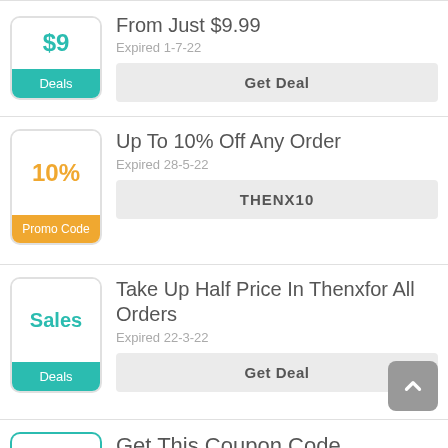[Figure (infographic): Deal card 1: Badge with $9 teal text and teal 'Deals' label strip. Title: From Just $9.99. Expired 1-7-22. Get Deal button.]
[Figure (infographic): Deal card 2: Badge with 10% orange text and orange 'Promo Code' label strip. Title: Up To 10% Off Any Order. Expired 28-5-22. THENX10 promo code button.]
[Figure (infographic): Deal card 3: Badge with 'Sales' teal text and teal 'Deals' label strip. Title: Take Up Half Price In Thenxfor All Orders. Expired 22-3-22. Get Deal button.]
[Figure (infographic): Deal card 4 (partial): Badge partially visible with teal border. Title: Get This Coupon Code]